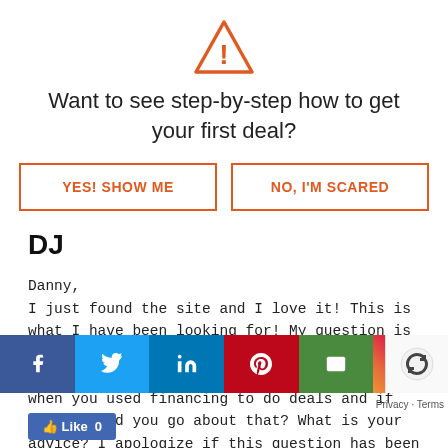[Figure (illustration): Orange warning triangle icon with exclamation mark]
Want to see step-by-step how to get your first deal?
[Figure (other): Two buttons: YES! SHOW ME and NO, I'M SCARED, both with orange border and text]
DJ
Danny,
I just found the site and I love it! This is what I have been looking for! My question is this; at this point in your career you are doing cash deals I assume. Was there a time when you used financing to do deals and if so, how did you go about that? What is your advice? I apologize if this question has been asked and answered somewhere else on the site.
[Figure (infographic): Social sharing bar with Facebook, Twitter, LinkedIn, Pinterest, Email, Instagram buttons, and reCAPTCHA logo. Below: Like button with count 0. Privacy - Terms link.]